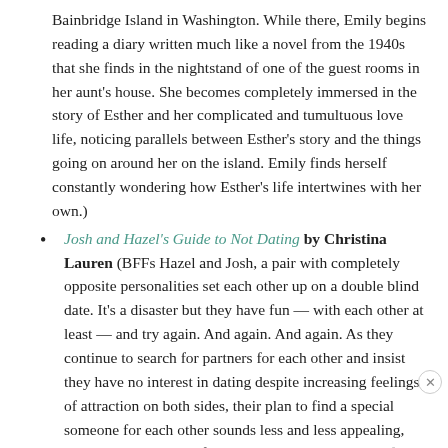Bainbridge Island in Washington. While there, Emily begins reading a diary written much like a novel from the 1940s that she finds in the nightstand of one of the guest rooms in her aunt's house. She becomes completely immersed in the story of Esther and her complicated and tumultuous love life, noticing parallels between Esther's story and the things going on around her on the island. Emily finds herself constantly wondering how Esther's life intertwines with her own.)
Josh and Hazel's Guide to Not Dating by Christina Lauren (BFFs Hazel and Josh, a pair with completely opposite personalities set each other up on a double blind date. It's a disaster but they have fun — with each other at least — and try again. And again. And again. As they continue to search for partners for each other and insist they have no interest in dating despite increasing feelings of attraction on both sides, their plan to find a special someone for each other sounds less and less appealing, especially when one of their exes shows up on one of the dates with the potential to change everything.)